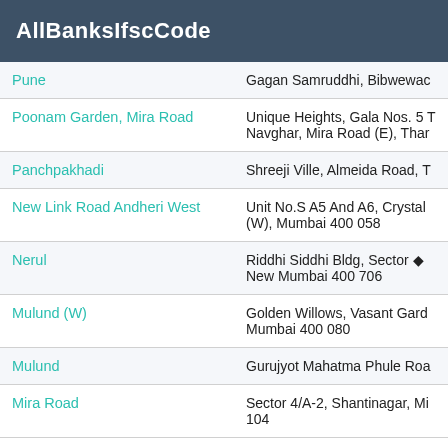AllBanksIfscCode
| Branch | Address |
| --- | --- |
| Pune | Gagan Samruddhi, Bibwewac |
| Poonam Garden, Mira Road | Unique Heights, Gala Nos. 5 T Navghar, Mira Road (E), Thar |
| Panchpakhadi | Shreeji Ville, Almeida Road, T |
| New Link Road Andheri West | Unit No.S A5 And A6, Crystal (W), Mumbai 400 058 |
| Nerul | Riddhi Siddhi Bldg, Sector � New Mumbai 400 706 |
| Mulund (W) | Golden Willows, Vasant Gard Mumbai 400 080 |
| Mulund | Gurujyot Mahatma Phule Roa |
| Mira Road | Sector 4/A-2, Shantinagar, Mi 104 |